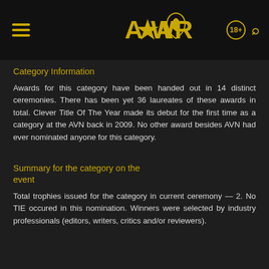AWARDS
Category Information
Awards for this category have been handed out in 14 distinct ceremonies. There has been yet 36 laureates of these awards in total. Clever Title Of The Year made its debut for the first time as a category at the AVN back in 2009. No other award besides AVN had ever nominated anyone for this category.
Summary for the category on the event
Total trophies issued for the category in current ceremony — 2. No TIE occured in this nomination. Winners were selected by industry professionals (editors, writers, critics and/or reviewers).